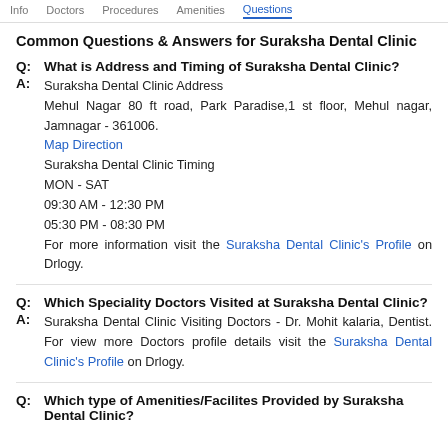Info | Doctors | Procedures | Amenities | Questions
Common Questions & Answers for Suraksha Dental Clinic
Q: What is Address and Timing of Suraksha Dental Clinic?
A: Suraksha Dental Clinic Address Mehul Nagar 80 ft road, Park Paradise,1 st floor, Mehul nagar, Jamnagar - 361006. Map Direction Suraksha Dental Clinic Timing MON - SAT 09:30 AM - 12:30 PM 05:30 PM - 08:30 PM For more information visit the Suraksha Dental Clinic's Profile on Drlogy.
Q: Which Speciality Doctors Visited at Suraksha Dental Clinic?
A: Suraksha Dental Clinic Visiting Doctors - Dr. Mohit kalaria, Dentist. For view more Doctors profile details visit the Suraksha Dental Clinic's Profile on Drlogy.
Q: Which type of Amenities/Facilites Provided by Suraksha Dental Clinic?